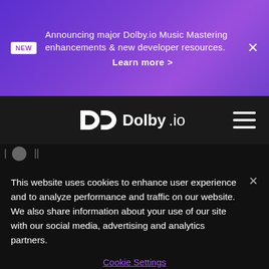NEW — Announcing major Dolby.io Music Mastering enhancements & new developer resources. Learn more >
[Figure (logo): Dolby.io logo in white on dark navigation bar with hamburger menu icon]
This website uses cookies to enhance user experience and to analyze performance and traffic on our website. We also share information about your use of our site with our social media, advertising and analytics partners.
Cookie Settings
Reject All
Accept Cookies